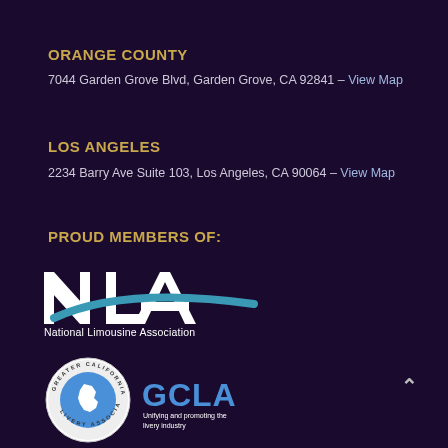ORANGE COUNTY
7044 Garden Grove Blvd, Garden Grove, CA 92841 – View Map
LOS ANGELES
2234 Barry Ave Suite 103, Los Angeles, CA 90064 – View Map
PROUD MEMBERS OF:
[Figure (logo): NLA National Limousine Association logo — bold white NLA letters with a teal swoosh arc, text 'National Limousine Association' below]
[Figure (logo): GCLA Greater California Livery Association logo — circular badge with California state outline on left, blue GCLA text with 'Unifying and promoting the livery industry' on right]